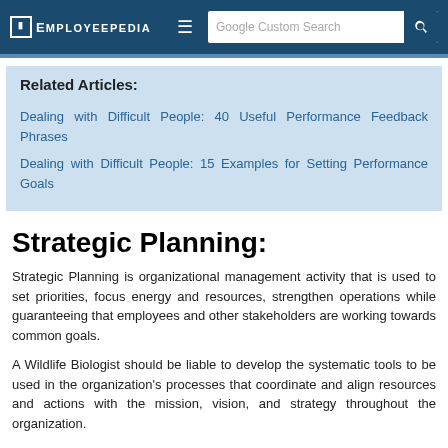EMPLOYEEPEDIA — Google Custom Search
Related Articles:
Dealing with Difficult People: 40 Useful Performance Feedback Phrases
Dealing with Difficult People: 15 Examples for Setting Performance Goals
Strategic Planning:
Strategic Planning is organizational management activity that is used to set priorities, focus energy and resources, strengthen operations while guaranteeing that employees and other stakeholders are working towards common goals.
A Wildlife Biologist should be liable to develop the systematic tools to be used in the organization's processes that coordinate and align resources and actions with the mission, vision, and strategy throughout the organization.